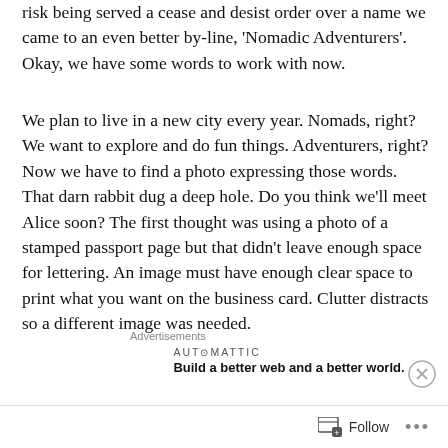risk being served a cease and desist order over a name we came to an even better by-line, 'Nomadic Adventurers'.  Okay, we have some words to work with now.
We plan to live in a new city every year.  Nomads, right?  We want to explore and do fun things.  Adventurers, right?  Now we have to find a photo expressing those words.  That darn rabbit dug a deep hole.  Do you think we'll meet Alice soon?  The first thought was using a photo of a stamped passport page but that didn't leave enough space for lettering.  An image must have enough clear space to print what you want on the business card.  Clutter distracts so a different image was needed.
Advertisements
[Figure (other): Automattic advertisement: AUTOMATTIC logo with tagline 'Build a better web and a better world.']
Advertisements
Follow  ...